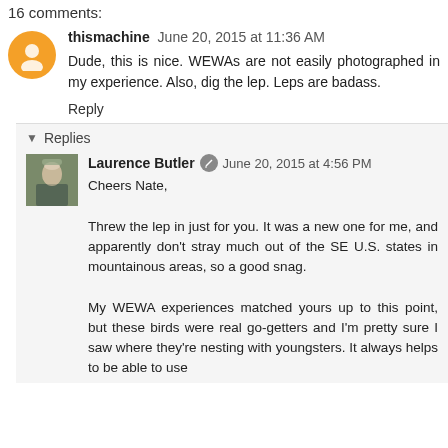16 comments:
thismachine  June 20, 2015 at 11:36 AM
Dude, this is nice. WEWAs are not easily photographed in my experience. Also, dig the lep. Leps are badass.
Reply
Replies
Laurence Butler  June 20, 2015 at 4:56 PM
Cheers Nate,

Threw the lep in just for you. It was a new one for me, and apparently don't stray much out of the SE U.S. states in mountainous areas, so a good snag.

My WEWA experiences matched yours up to this point, but these birds were real go-getters and I'm pretty sure I saw where they're nesting with youngsters. It always helps to be able to use